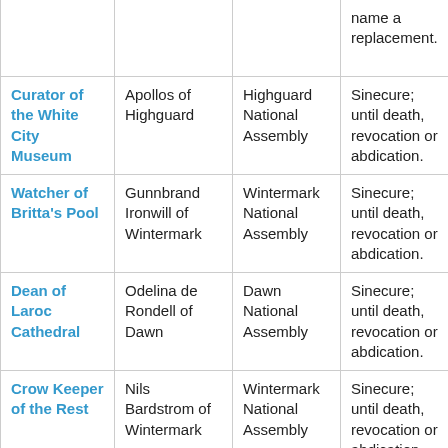|  |  |  | name a replacement. |
| Curator of the White City Museum | Apollos of Highguard | Highguard National Assembly | Sinecure; until death, revocation or abdication. |
| Watcher of Britta's Pool | Gunnbrand Ironwill of Wintermark | Wintermark National Assembly | Sinecure; until death, revocation or abdication. |
| Dean of Laroc Cathedral | Odelina de Rondell of Dawn | Dawn National Assembly | Sinecure; until death, revocation or abdication. |
| Crow Keeper of the Rest | Nils Bardstrom of Wintermark | Wintermark National Assembly | Sinecure; until death, revocation or abdication. |
| Guardian of Giselle's | Casimir Marcellino di | League National | Sinecure; until death, |